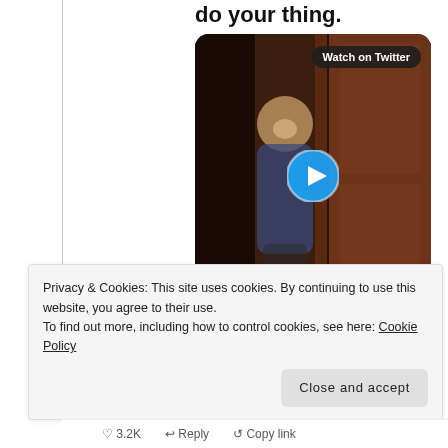do your thing.
[Figure (screenshot): A screenshot of a Twitter embedded video showing a person in a hallway or elevator area. A blue play button circle is overlaid in the center. A 'Watch on Twitter' badge is shown in the top right corner of the video.]
Privacy & Cookies: This site uses cookies. By continuing to use this website, you agree to their use.
To find out more, including how to control cookies, see here: Cookie Policy
Close and accept
3.2K   Reply   Copy link